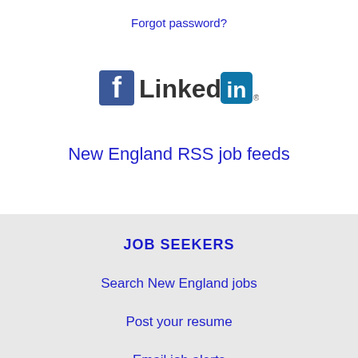Forgot password?
[Figure (logo): Facebook and LinkedIn social login icons side by side]
New England RSS job feeds
JOB SEEKERS
Search New England jobs
Post your resume
Email job alerts
Register / Log in